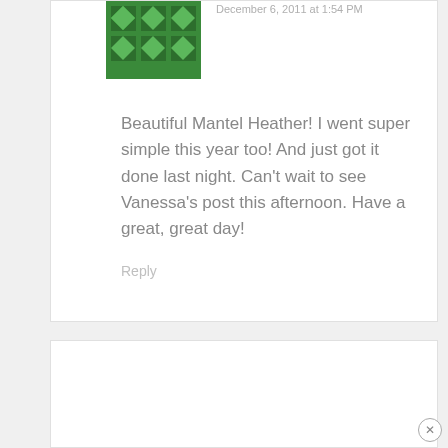[Figure (illustration): Green geometric identicon avatar for commenter]
December 6, 2011 at 1:54 PM
Beautiful Mantel Heather! I went super simple this year too! And just got it done last night. Can't wait to see Vanessa's post this afternoon. Have a great, great day!
Reply
[Figure (illustration): Green geometric identicon avatar for Maria Elena]
MARIA ELENA SAYS